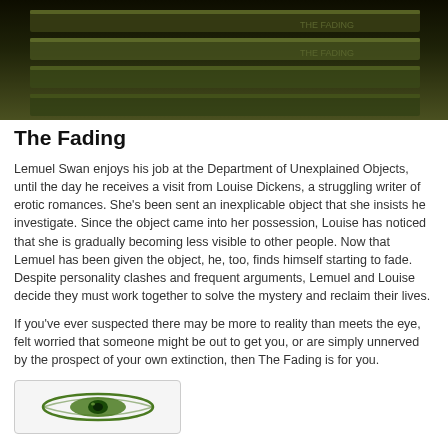[Figure (photo): Dark image showing staircase or escalator steps with olive/dark green tones]
The Fading
Lemuel Swan enjoys his job at the Department of Unexplained Objects, until the day he receives a visit from Louise Dickens, a struggling writer of erotic romances. She’s been sent an inexplicable object that she insists he investigate. Since the object came into her possession, Louise has noticed that she is gradually becoming less visible to other people. Now that Lemuel has been given the object, he, too, finds himself starting to fade. Despite personality clashes and frequent arguments, Lemuel and Louise decide they must work together to solve the mystery and reclaim their lives.
If you’ve ever suspected there may be more to reality than meets the eye, felt worried that someone might be out to get you, or are simply unnerved by the prospect of your own extinction, then The Fading is for you.
Buy
[Figure (logo): Small oval/eye-shaped logo in green on a light grey rounded rectangle background]